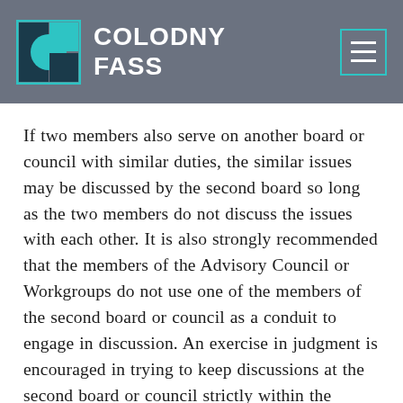COLODNY FASS
If two members also serve on another board or council with similar duties, the similar issues may be discussed by the second board so long as the two members do not discuss the issues with each other. It is also strongly recommended that the members of the Advisory Council or Workgroups do not use one of the members of the second board or council as a conduit to engage in discussion. An exercise in judgment is encouraged in trying to keep discussions at the second board or council strictly within the context of the duties of that second board or council. Advisory Council and